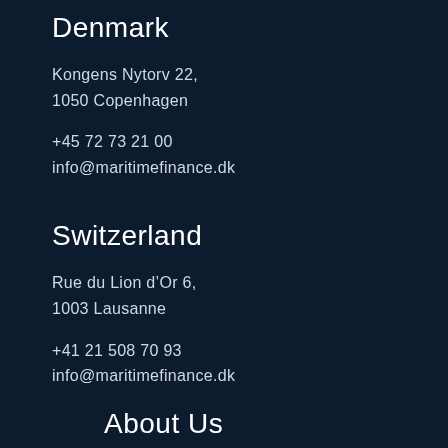Denmark
Kongens Nytorv 22,
1050 Copenhagen
+45 72 73 21 00
info@maritimefinance.dk
Switzerland
Rue du Lion d’Or 6,
1003 Lausanne
+41 21 508 70 93
info@maritimefinance.dk
About Us